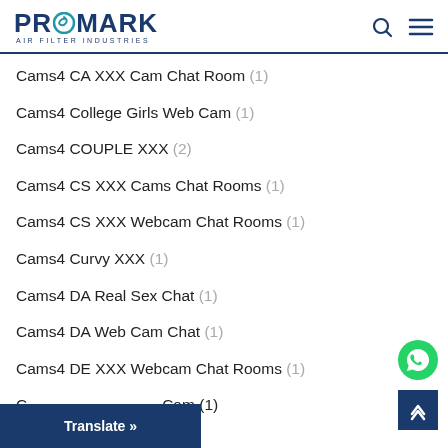PROMARK AIR FILTER INDUSTRIES
Cams4 CA XXX Cam Chat Room (1)
Cams4 College Girls Web Cam (1)
Cams4 COUPLE XXX (2)
Cams4 CS XXX Cams Chat Rooms (1)
Cams4 CS XXX Webcam Chat Rooms (1)
Cams4 Curvy XXX (1)
Cams4 DA Real Sex Chat (1)
Cams4 DA Web Cam Chat (1)
Cams4 DE XXX Webcam Chat Rooms (1)
C... Cam (1)